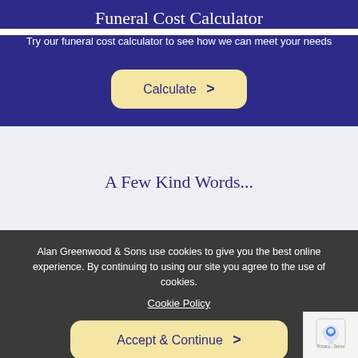Funeral Cost Calculator
Try our funeral cost calculator to see how we can meet your needs
[Figure (other): Yellow 'Calculate >' button with rounded corners on dark blue background]
A Few Kind Words...
Alan Greenwood & Sons use cookies to give you the best online experience. By continuing to using our site you agree to the use of cookies.
Cookie Policy
[Figure (other): Yellow 'Accept & Continue >' button with rounded corners on dark overlay]
"Than... i, compa... ed with helping Chris and us to plan his funeral